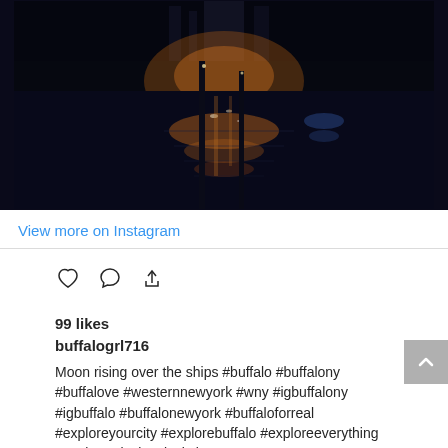[Figure (photo): Night photo of moonlight reflecting on water with ships/dock structures visible, dark blue/black tones with orange and white light reflections on wet surfaces]
View more on Instagram
[Figure (other): Instagram action icons: heart (like), speech bubble (comment), share arrow, and bookmark]
99 likes
buffalogrl716
Moon rising over the ships #buffalo #buffalony #buffalove #westernnewyork #wny #igbuffalony #igbuffalo #buffalonewyork #buffaloforreal #exploreyourcity #explorebuffalo #exploreeverything #explore #igcity #igcitylove #featuremeigersbuffalo#capturebuffalo #riseBFLO